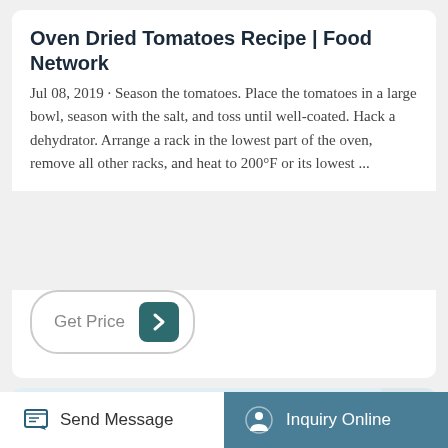Oven Dried Tomatoes Recipe | Food Network
Jul 08, 2019 · Season the tomatoes. Place the tomatoes in a large bowl, season with the salt, and toss until well-coated. Hack a dehydrator. Arrange a rack in the lowest part of the oven, remove all other racks, and heat to 200°F or its lowest ...
[Figure (screenshot): Get Price button with teal arrow box and TOP navigation button]
[Figure (photo): Industrial oven or machine with teal/blue body, grey top panel, label on left, and yellow warning sticker on right]
Send Message   Inquiry Online